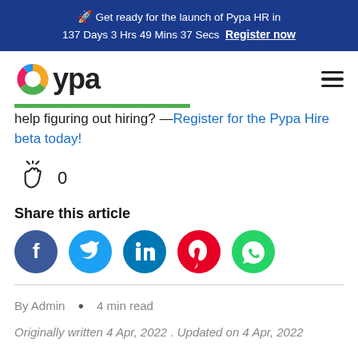🚀 Get ready for the launch of Pypa HR in 137 Days 3 Hrs 49 Mins 37 Secs  Register now
[Figure (logo): Pypa logo with colorful circular icon and hamburger menu]
help figuring out hiring? —Register for the Pypa Hire beta today!
0
Share this article
[Figure (infographic): Social share buttons: Facebook, Twitter, LinkedIn, Pinterest, WhatsApp]
By Admin  •  4 min read
Originally written 4 Apr, 2022 . Updated on 4 Apr, 2022